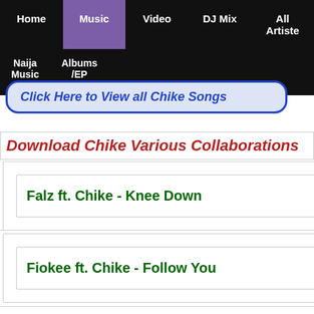Home | Music | Video | DJ Mix | All Artiste | Naija Music | Albums/EP
Click Here to View all Chike Songs
Download Chike Various Collaborations
Falz ft. Chike - Knee Down
Fiokee ft. Chike - Follow You